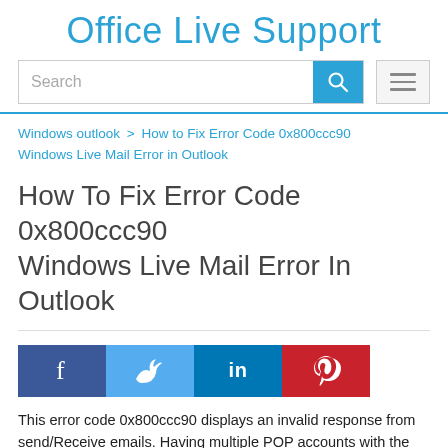Office Live Support
[Figure (screenshot): Search bar with blue search button and hamburger menu button]
Windows outlook > How to Fix Error Code 0x800ccc90 Windows Live Mail Error in Outlook
How To Fix Error Code 0x800ccc90 Windows Live Mail Error In Outlook
[Figure (infographic): Social media sharing buttons: Facebook (dark blue), Twitter (light blue), LinkedIn (dark blue), Pinterest (red)]
This error code 0x800ccc90 displays an invalid response from send/Receive emails. Having multiple POP accounts with the email sync process. If the POP3 continues to get this error methods to resolve the error ode 0X800CCC90 .